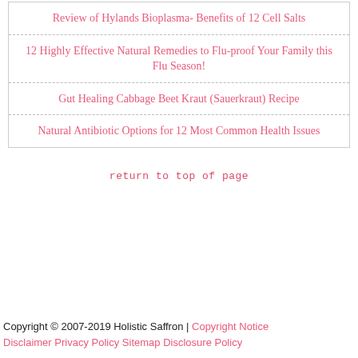Review of Hylands Bioplasma- Benefits of 12 Cell Salts
12 Highly Effective Natural Remedies to Flu-proof Your Family this Flu Season!
Gut Healing Cabbage Beet Kraut (Sauerkraut) Recipe
Natural Antibiotic Options for 12 Most Common Health Issues
return to top of page
Copyright © 2007-2019 Holistic Saffron | Copyright Notice Disclaimer Privacy Policy Sitemap Disclosure Policy